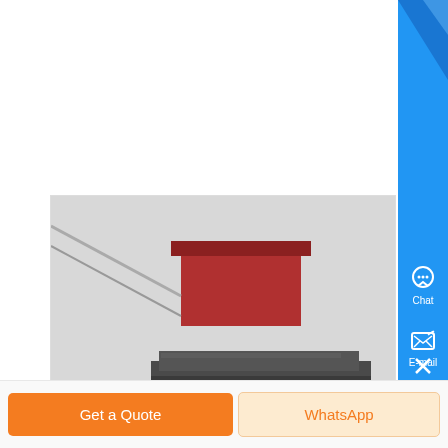or less steady ....
[Figure (photo): Industrial machine (appears to be a shredder or compactor) with blue motor/drive unit on the left and dark metal body, photographed in a warehouse/factory setting]
Get a Quote
WhatsApp